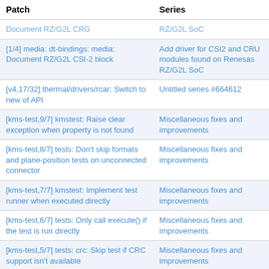| Patch | Series |
| --- | --- |
| Document RZ/G2L CRG | RZ/G2L SoC |
| [1/4] media: dt-bindings: media: Document RZ/G2L CSI-2 block | Add driver for CSI2 and CRU modules found on Renesas RZ/G2L SoC |
| [v4,17/32] thermal/drivers/rcar: Switch to new of API | Untitled series #664612 |
| [kms-test,9/7] kmstest: Raise clear exception when property is not found | Miscellaneous fixes and improvements |
| [kms-test,8/7] tests: Don't skip formats and plane-position tests on unconnected connector | Miscellaneous fixes and improvements |
| [kms-test,7/7] kmstest: Implement test runner when executed directly | Miscellaneous fixes and improvements |
| [kms-test,6/7] tests: Only call execute() if the test is run directly | Miscellaneous fixes and improvements |
| [kms-test,5/7] tests: crc: Skip test if CRC support isn't available | Miscellaneous fixes and improvements |
| [kms-test,4/7] kmstest: Fix exception handling in CRCReader constructor | Miscellaneous fixes and improvements |